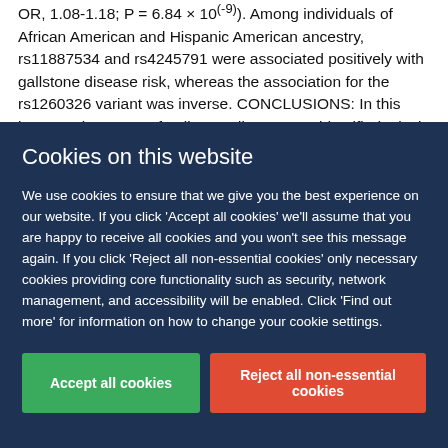OR, 1.08-1.18; P = 6.84 × 10(-9)). Among individuals of African American and Hispanic American ancestry, rs11887534 and rs4245791 were associated positively with gallstone disease risk, whereas the association for the rs1260326 variant was inverse. CONCLUSIONS: In this large-scale GWAS of gallstone disease, we identified 4 loci in genes that have
Cookies on this website
We use cookies to ensure that we give you the best experience on our website. If you click 'Accept all cookies' we'll assume that you are happy to receive all cookies and you won't see this message again. If you click 'Reject all non-essential cookies' only necessary cookies providing core functionality such as security, network management, and accessibility will be enabled. Click 'Find out more' for information on how to change your cookie settings.
Accept all cookies | Reject all non-essential cookies